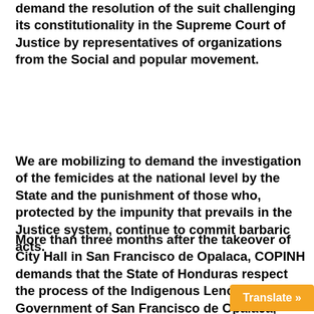demand the resolution of the suit challenging its constitutionality in the Supreme Court of Justice by representatives of organizations from the Social and popular movement.
We are mobilizing to demand the investigation of the femicides at the national level by the State and the punishment of those who, protected by the impunity that prevails in the Justice system, continue to commit barbaric acts.
More than three months after the takeover of City Hall in San Francisco de Opalaca, COPINH demands that the State of Honduras respect the process of the Indigenous Lenca Government of San Francisco de Opalaca, respect the Indigenous and legitimate Mayorship, for its ancestral and historic authority, unrestricted respect for its self-determination, territories and natural goods. We demand the official removal of the Imposed Mayo
Translate »